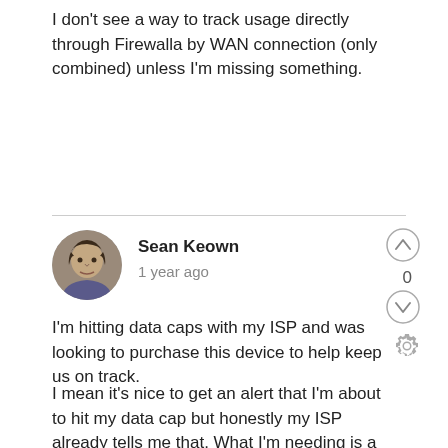I don't see a way to track usage directly through Firewalla by WAN connection (only combined) unless I'm missing something.
Sean Keown
1 year ago
I'm hitting data caps with my ISP and was looking to purchase this device to help keep us on track.
I mean it's nice to get an alert that I'm about to hit my data cap but honestly my ISP already tells me that. What I'm needing is a way to look at the past months data and determine if the cause is from streaming, steam updates, and or windows updates. Then if needed I could easily block steam updates and or limit Netflix until the following month.
I'm to the point I'm looking to setup something to